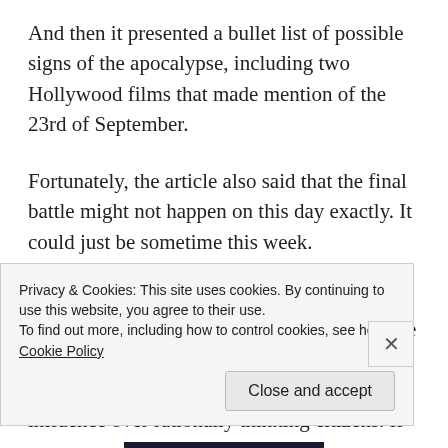And then it presented a bullet list of possible signs of the apocalypse, including two Hollywood films that made mention of the 23rd of September.
Fortunately, the article also said that the final battle might not happen on this day exactly. It could just be sometime this week.
Here’s my take on apocalyptic prophecies: They are a bad idea. If they are really true, the only people who believe them are usually too distant from society’s core to have any influence over rationally thinking citizens. If
Privacy & Cookies: This site uses cookies. By continuing to use this website, you agree to their use.
To find out more, including how to control cookies, see here: Cookie Policy
Close and accept